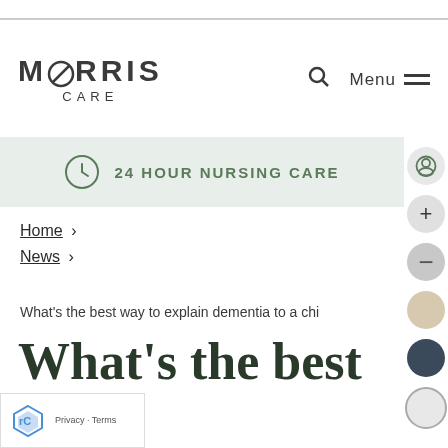MORRIS CARE
24 HOUR NURSING CARE
Home >
News >
What's the best way to explain dementia to a chi
What's the best way to explain dementia to a child?